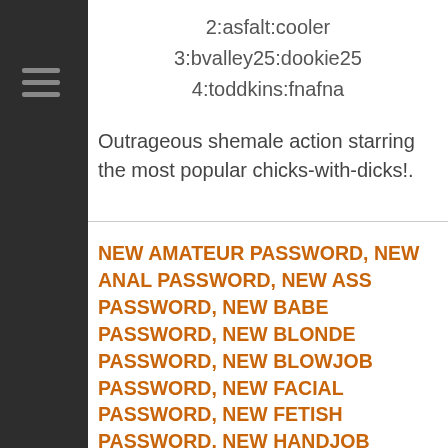2:asfalt:cooler
3:bvalley25:dookie25
4:toddkins:fnafna
Outrageous shemale action starring the most popular chicks-with-dicks!.
NEW AMATEUR PASSWORD, NEW ANAL PASSWORD, NEW ASS PASSWORD, NEW BABE PASSWORD, NEW BLONDE PASSWORD, NEW BLOWJOB PASSWORD, NEW FACIAL PASSWORD, NEW FETISH PASSWORD, NEW HANDJOB PASSWORD, NEW LATEX